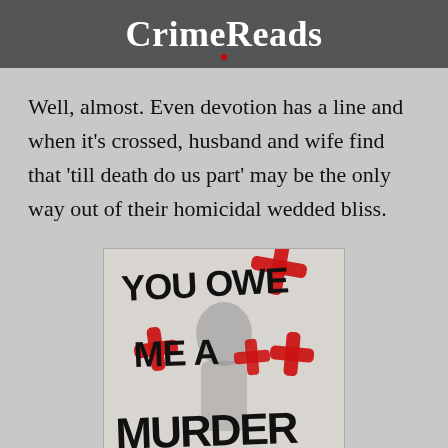CrimeReads
Well, almost. Even devotion has a line and when it's crossed, husband and wife find that 'till death do us part' may be the only way out of their homicidal wedded bliss.
[Figure (photo): Book cover of 'You Owe Me A Murder' — black hand-lettered title text with red X marks on a grey background with a shadowy silhouette figure]